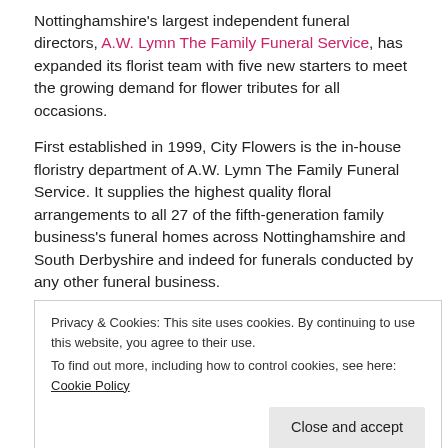Nottinghamshire's largest independent funeral directors, A.W. Lymn The Family Funeral Service, has expanded its florist team with five new starters to meet the growing demand for flower tributes for all occasions.
First established in 1999, City Flowers is the in-house floristry department of A.W. Lymn The Family Funeral Service. It supplies the highest quality floral arrangements to all 27 of the fifth-generation family business's funeral homes across Nottinghamshire and South Derbyshire and indeed for funerals conducted by any other funeral business.
Although part of the A.W. Lymn funeral business, City Flowers create bespoke floral arrangements for all occasions
Privacy & Cookies: This site uses cookies. By continuing to use this website, you agree to their use.
To find out more, including how to control cookies, see here: Cookie Policy
[Close and accept]
almost 50 years' experience in the florist industry.